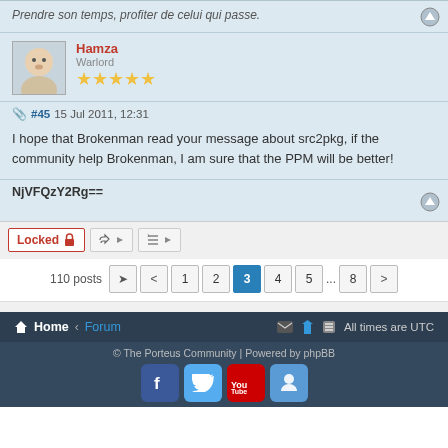Prendre son temps, profiter de celui qui passe.
Hamza
Warlord
★★★★★
#45 15 Jul 2011, 12:31
I hope that Brokenman read your message about src2pkg, if the community help Brokenman, I am sure that the PPM will be better!
NjVFQzY2Rg==
Locked
110 posts  1 2 3 4 5 ... 8
Home · Forum    All times are UTC
© The Porteus Community | Powered by phpBB